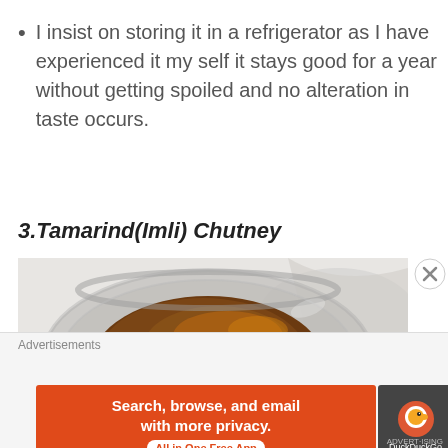I insist on storing it in a refrigerator as I have experienced it my self it stays good for a year without getting spoiled and no alteration in taste occurs.
3.Tamarind(Imli) Chutney
[Figure (photo): A glass bowl viewed from above containing dark brown tamarind (imli) chutney, placed on a white surface.]
Advertisements
[Figure (infographic): DuckDuckGo advertisement banner: 'Search, browse, and email with more privacy. All in One Free App' with DuckDuckGo duck logo on dark background.]